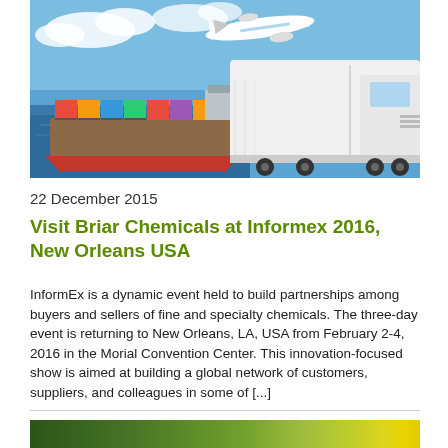[Figure (photo): Logistics transportation image showing a cargo ship with colorful containers, a large white refrigerated truck, and an airplane in the sky against a blue background.]
22 December 2015
Visit Briar Chemicals at Informex 2016, New Orleans USA
InformEx is a dynamic event held to build partnerships among buyers and sellers of fine and specialty chemicals.  The three-day event is returning to New Orleans, LA, USA from February 2-4, 2016 in the Morial Convention Center. This innovation-focused show is aimed at building a global network of customers, suppliers, and colleagues in some of [...]
[Figure (photo): Partial image showing a green and yellow blurred background, likely the bottom of another article image.]